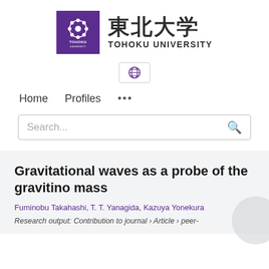[Figure (logo): Tohoku University logo: purple square with white circular emblem and TOHOKU UNIVERSITY text, followed by Japanese kanji 東北大学 and TOHOKU UNIVERSITY in English]
[Figure (other): Globe/language selector icon button with border]
Home   Profiles   ...
Search...
Gravitational waves as a probe of the gravitino mass
Fuminobu Takahashi, T. T. Yanagida, Kazuya Yonekura
Research output: Contribution to journal › Article › peer-